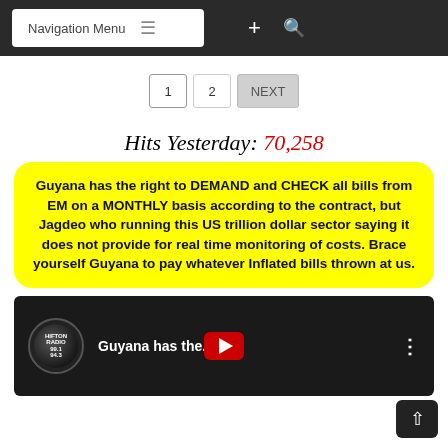Navigation Menu
1 2 NEXT
Hits Yesterday: 70,258
Guyana has the right to DEMAND and CHECK all bills from EM on a MONTHLY basis according to the contract, but Jagdeo who running this US trillion dollar sector saying it does not provide for real time monitoring of costs. Brace yourself Guyana to pay whatever Inflated bills thrown at us.
[Figure (screenshot): YouTube video thumbnail showing 'Guyana has the...' with a radio station logo and red play button]